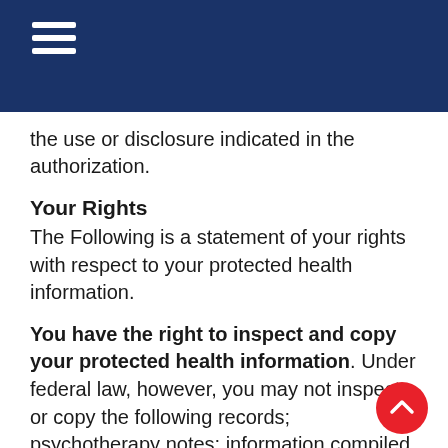≡
the use or disclosure indicated in the authorization.
Your Rights
The Following is a statement of your rights with respect to your protected health information.
You have the right to inspect and copy your protected health information. Under federal law, however, you may not inspect or copy the following records; psychotherapy notes; information compiled in reasonable anticipation of, or use in, a